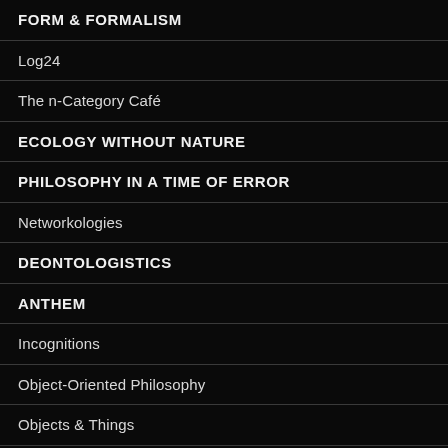FORM & FORMALISM
Log24
The n-Category Café
ECOLOGY WITHOUT NATURE
PHILOSOPHY IN A TIME OF ERROR
Networkologies
DEONTOLOGISTICS
ANTHEM
Incognitions
Object-Oriented Philosophy
Objects & Things
Larval Subjects .